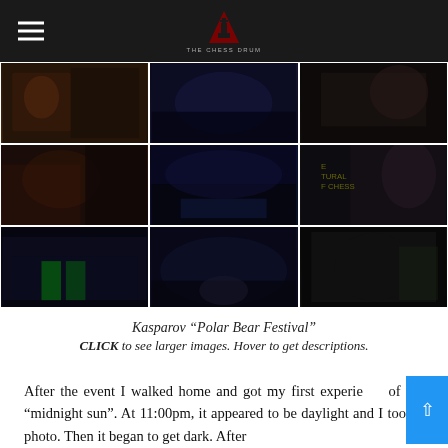THE CHESS DRUM [logo]
[Figure (photo): 3x3 grid of event photos from Kasparov Polar Bear Festival showing crowds, performers, and venue scenes]
Kasparov “Polar Bear Festival” CLICK to see larger images. Hover to get descriptions.
After the event I walked home and got my first experience of the “midnight sun”. At 11:00pm, it appeared to be daylight and I took a photo. Then it began to get dark. After